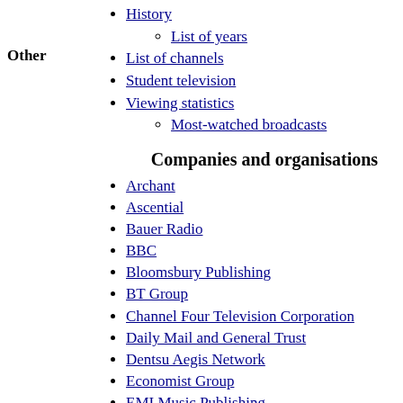History
List of years
Other
List of channels
Student television
Viewing statistics
Most-watched broadcasts
Companies and organisations
Archant
Ascential
Bauer Radio
BBC
Bloomsbury Publishing
BT Group
Channel Four Television Corporation
Daily Mail and General Trust
Dentsu Aegis Network
Economist Group
EMI Music Publishing
Endemol Shine UK
Future plc
Global Media & Entertainment
Guardian Media Group
Haymarket Media Group
Informa